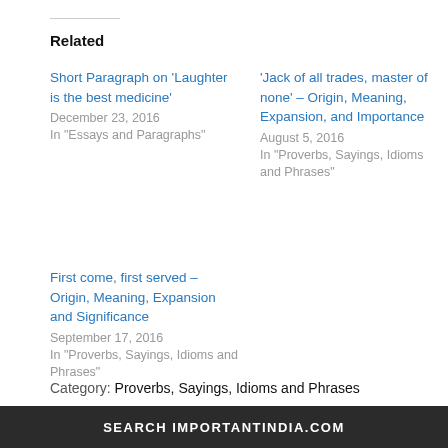Related
Short Paragraph on ‘Laughter is the best medicine’
December 23, 2016
In "Essays and Paragraphs"
‘Jack of all trades, master of none’ – Origin, Meaning, Expansion, and Importance
August 5, 2016
In "Proverbs, Sayings, Idioms and Phrases"
First come, first served – Origin, Meaning, Expansion and Significance
September 17, 2016
In "Proverbs, Sayings, Idioms and Phrases"
Category: Proverbs, Sayings, Idioms and Phrases
SEARCH IMPORTANTINDIA.COM